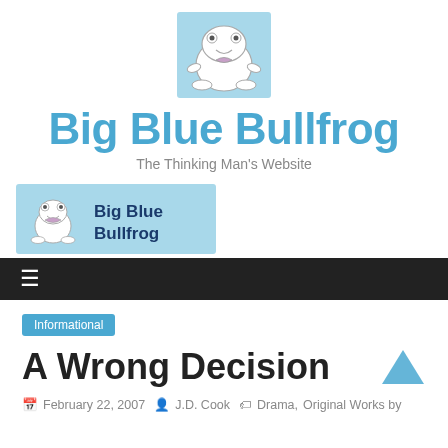[Figure (logo): Big Blue Bullfrog frog illustration on light blue background]
Big Blue Bullfrog
The Thinking Man's Website
[Figure (logo): Big Blue Bullfrog banner logo with frog image and text on light blue background]
☰ (navigation hamburger menu)
Informational
A Wrong Decision
February 22, 2007   J.D. Cook   Drama, Original Works by